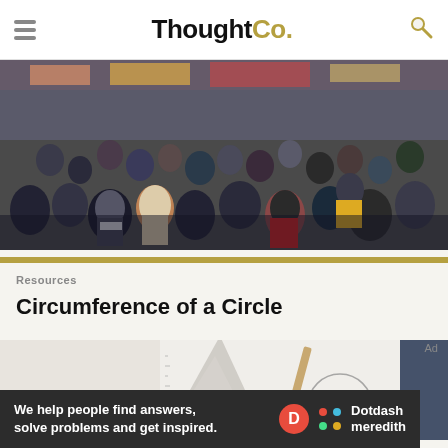ThoughtCo.
[Figure (photo): Large crowd of people in a busy shopping street, appears to be in Japan]
[Figure (photo): Close-up of a compass drawing a circle on paper with a ruler visible]
Resources
Circumference of a Circle
[Figure (infographic): Dotdash Meredith advertisement banner: We help people find answers, solve problems and get inspired.]